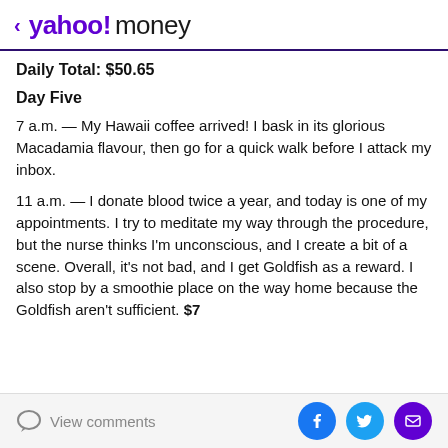< yahoo!money
Daily Total: $50.65
Day Five
7 a.m. — My Hawaii coffee arrived! I bask in its glorious Macadamia flavour, then go for a quick walk before I attack my inbox.
11 a.m. — I donate blood twice a year, and today is one of my appointments. I try to meditate my way through the procedure, but the nurse thinks I'm unconscious, and I create a bit of a scene. Overall, it's not bad, and I get Goldfish as a reward. I also stop by a smoothie place on the way home because the Goldfish aren't sufficient. $7
View comments